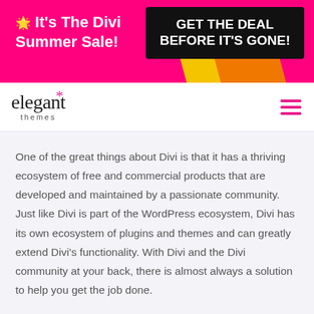[Figure (screenshot): Pink promotional banner with text '🌟 It’s The Divi Summer Sale!' on the left and a black box with 'GET THE DEAL BEFORE IT’S GONE!' on the right, with yellow and orange diagonal accents.]
elegant themes (logo with hamburger menu)
One of the great things about Divi is that it has a thriving ecosystem of free and commercial products that are developed and maintained by a passionate community. Just like Divi is part of the WordPress ecosystem, Divi has its own ecosystem of plugins and themes and can greatly extend Divi’s functionality. With Divi and the Divi community at your back, there is almost always a solution to help you get the job done.
VISIT THE DIVI MARKETPLACE